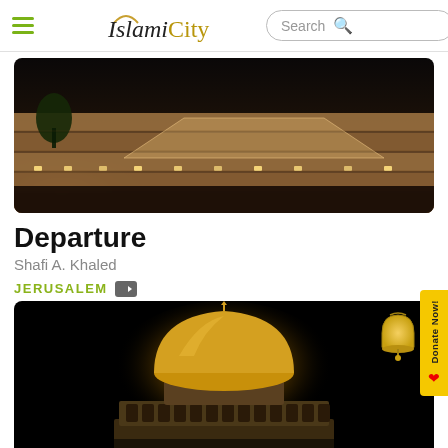IslamiCity
[Figure (photo): Nighttime aerial view of the Western Wall plaza in Jerusalem, illuminated with warm golden lights, showing the historic stone walls and crowd below.]
Departure
Shafi A. Khaled
JERUSALEM
[Figure (photo): Nighttime video thumbnail of the Dome of the Rock mosque in Jerusalem, glowing golden dome against black sky, with crowds gathered. Text overlay reads AMAZING SCENES.]